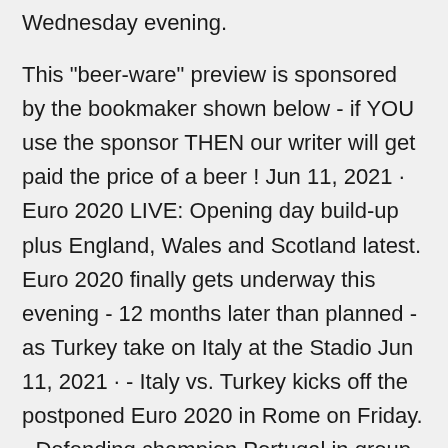Wednesday evening.
This "beer-ware" preview is sponsored by the bookmaker shown below - if YOU use the sponsor THEN our writer will get paid the price of a beer ! Jun 11, 2021 · Euro 2020 LIVE: Opening day build-up plus England, Wales and Scotland latest. Euro 2020 finally gets underway this evening - 12 months later than planned - as Turkey take on Italy at the Stadio Jun 11, 2021 · - Italy vs. Turkey kicks off the postponed Euro 2020 in Rome on Friday. - Defending champion Portugal in group with previous two World Cup winners, France and Germany. - ESPN will televise 39 Euro Turkey's and Wales' Qualification Process Wales qualified for Euro 2020 (2021) by finishing second behind Croatia in qualifying Group E, just a single point ahead of Slovakia.